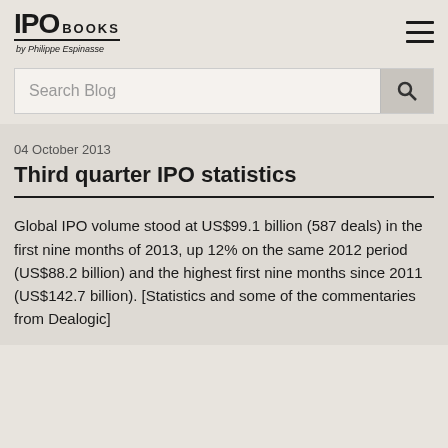IPO BOOKS by Philippe Espinasse
Search Blog
04 October 2013
Third quarter IPO statistics
Global IPO volume stood at US$99.1 billion (587 deals) in the first nine months of 2013, up 12% on the same 2012 period (US$88.2 billion) and the highest first nine months since 2011 (US$142.7 billion). [Statistics and some of the commentaries from Dealogic]